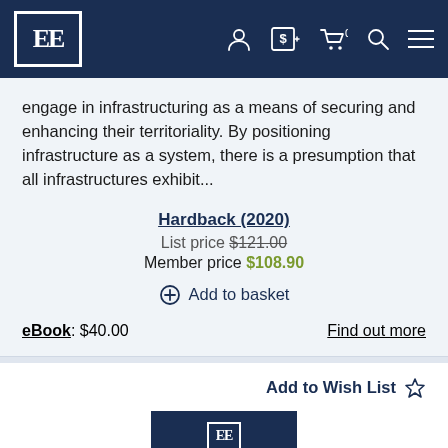EE [logo] navigation bar with account, currency, cart, search, menu icons
engage in infrastructuring as a means of securing and enhancing their territoriality. By positioning infrastructure as a system, there is a presumption that all infrastructures exhibit...
Hardback (2020)
List price $121.00
Member price $108.90
+ Add to basket
eBook: $40.00
Find out more
Add to Wish List
[Figure (logo): EE publisher logo at bottom of page, dark navy book cover stub]